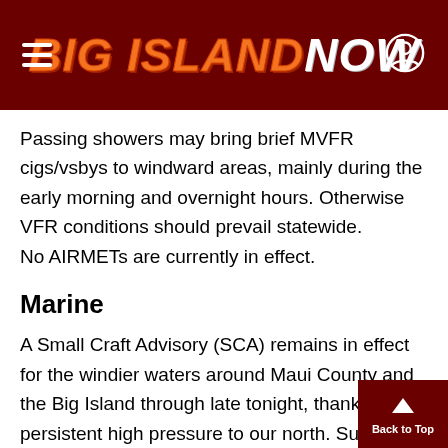BIG ISLAND NOW
Passing showers may bring brief MVFR cigs/vsbys to windward areas, mainly during the early morning and overnight hours. Otherwise VFR conditions should prevail statewide.
No AIRMETs are currently in effect.
Marine
A Small Craft Advisory (SCA) remains in effect for the windier waters around Maui County and the Big Island through late tonight, thanks to persistent high pressure to our north. Surf will remain up along south facing shores as a series of overlapping small, period swells from the southern hemisphere pa...